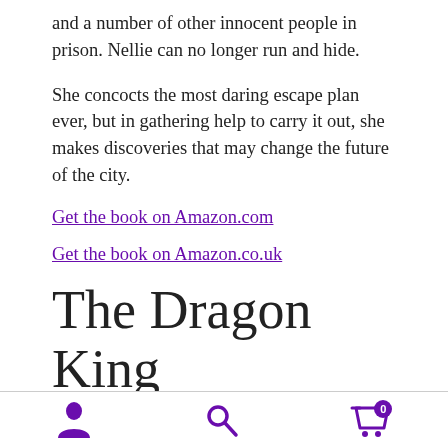and a number of other innocent people in prison. Nellie can no longer run and hide.
She concocts the most daring escape plan ever, but in gathering help to carry it out, she makes discoveries that may change the future of the city.
Get the book on Amazon.com
Get the book on Amazon.co.uk
The Dragon King
Dragonspeaker Chronicles 3